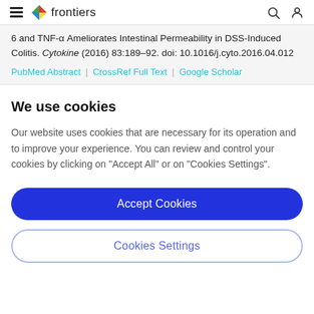frontiers
6 and TNF-α Ameliorates Intestinal Permeability in DSS-Induced Colitis. Cytokine (2016) 83:189–92. doi: 10.1016/j.cyto.2016.04.012
PubMed Abstract | CrossRef Full Text | Google Scholar
We use cookies
Our website uses cookies that are necessary for its operation and to improve your experience. You can review and control your cookies by clicking on "Accept All" or on "Cookies Settings".
Accept Cookies
Cookies Settings